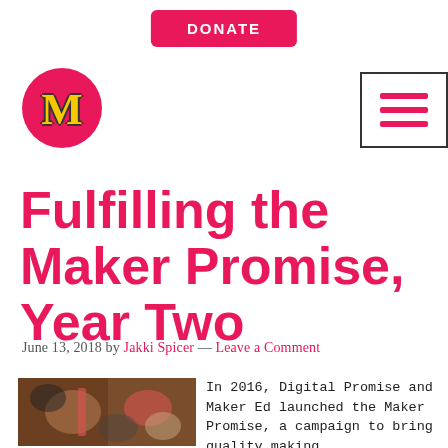DONATE
[Figure (logo): Maker Ed logo — pink circle with gold M letter inside]
[Figure (other): Hamburger menu icon — three pink horizontal bars in a bordered box]
Fulfilling the Maker Promise, Year Two
June 13, 2018 by Jakki Spicer — Leave a Comment
[Figure (photo): Photo of students working on a making/crafting activity together]
In 2016, Digital Promise and Maker Ed launched the Maker Promise, a campaign to bring quality making